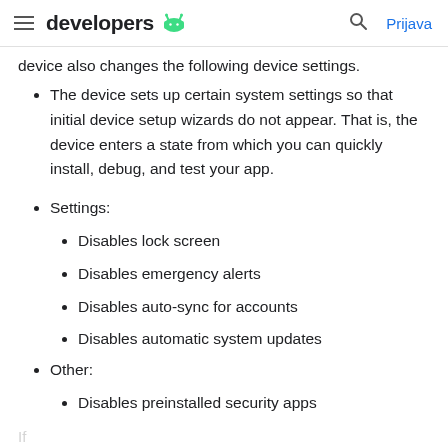developers • Prijava
device also changes the following device settings.
The device sets up certain system settings so that initial device setup wizards do not appear. That is, the device enters a state from which you can quickly install, debug, and test your app.
Settings:
Disables lock screen
Disables emergency alerts
Disables auto-sync for accounts
Disables automatic system updates
Other:
Disables preinstalled security apps